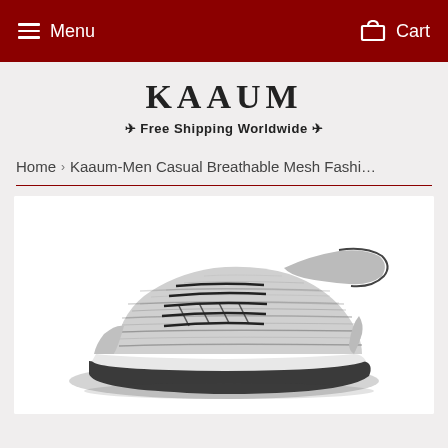Menu  Cart
KAAUM
✈ Free Shipping Worldwide ✈
Home › Kaaum-Men Casual Breathable Mesh Fashi…
[Figure (photo): Photo of a men's casual breathable mesh fashion sneaker in black and grey knit pattern, photographed from the side/front angle on a white background.]